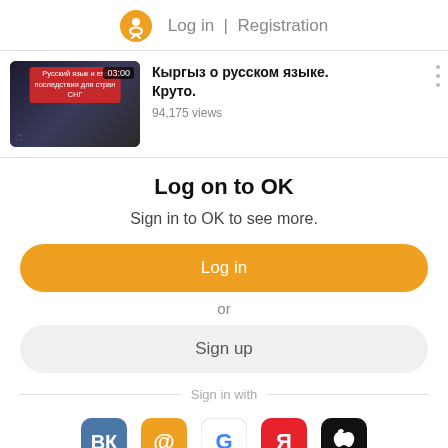Log in | Registration
[Figure (screenshot): Video thumbnail showing text in Russian: Кыргыз о русском языке. Круто. with timer 03:00 and 94,175 views]
Log on to OK
Sign in to OK to see more.
Log in
or
Sign up
Sign in with
[Figure (logo): Social login icons: VK (blue), Mail (orange @), Google (G), Yandex (Я red), Apple (black)]